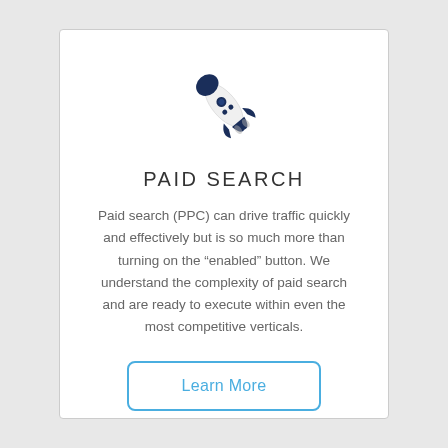[Figure (illustration): Rocket ship icon pointing upper-right, dark navy blue and light gray colors]
PAID SEARCH
Paid search (PPC) can drive traffic quickly and effectively but is so much more than turning on the “enabled” button. We understand the complexity of paid search and are ready to execute within even the most competitive verticals.
Learn More